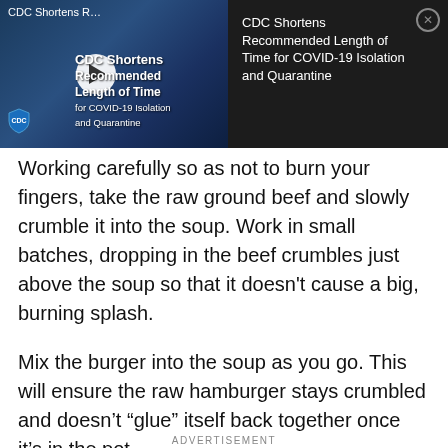[Figure (screenshot): Video thumbnail showing a CDC building sign with a play button overlay. Text overlay reads 'CDC Shortens Recommended Length of Time for COVID-19 Isolation and Quarantine'. The right panel of the banner shows the same title text with a close (X) button.]
Working carefully so as not to burn your fingers, take the raw ground beef and slowly crumble it into the soup. Work in small batches, dropping in the beef crumbles just above the soup so that it doesn't cause a big, burning splash.
Mix the burger into the soup as you go. This will ensure the raw hamburger stays crumbled and doesn't “glue” itself back together once it’s in the pot.
ADVERTISEMENT